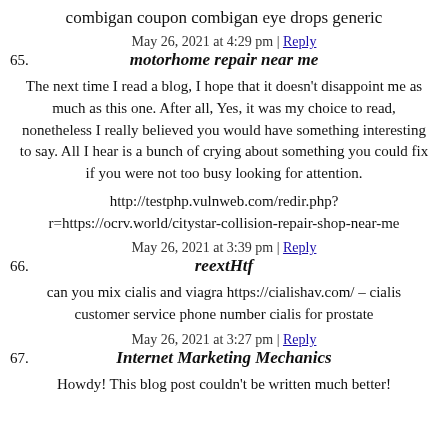combigan coupon combigan eye drops generic
May 26, 2021 at 4:29 pm | Reply
65. motorhome repair near me
The next time I read a blog, I hope that it doesn't disappoint me as much as this one. After all, Yes, it was my choice to read, nonetheless I really believed you would have something interesting to say. All I hear is a bunch of crying about something you could fix if you were not too busy looking for attention.
http://testphp.vulnweb.com/redir.php?r=https://ocrv.world/citystar-collision-repair-shop-near-me
May 26, 2021 at 3:39 pm | Reply
66. reextHtf
can you mix cialis and viagra https://cialishav.com/ – cialis customer service phone number cialis for prostate
May 26, 2021 at 3:27 pm | Reply
67. Internet Marketing Mechanics
Howdy! This blog post couldn't be written much better!